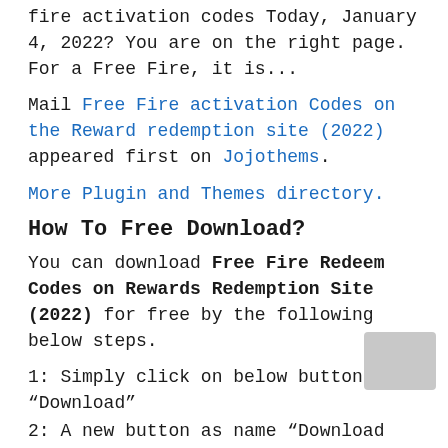fire activation codes Today, January 4, 2022? You are on the right page. For a Free Fire, it is...
Mail Free Fire activation Codes on the Reward redemption site (2022) appeared first on Jojothems.
More Plugin and Themes directory.
How To Free Download?
You can download Free Fire Redeem Codes on Rewards Redemption Site (2022) for free by the following below steps.
1: Simply click on below button “Download”
2: A new button as name “Download Now” will appear below.
3: Simply click on this new button “Download